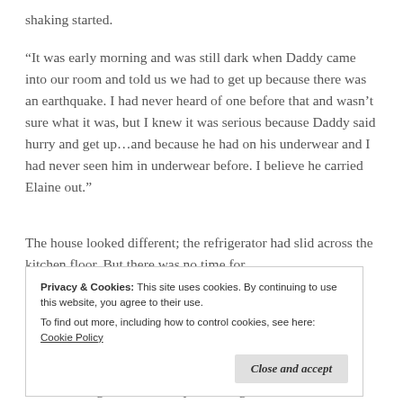shaking started.
“It was early morning and was still dark when Daddy came into our room and told us we had to get up because there was an earthquake. I had never heard of one before that and wasn’t sure what it was, but I knew it was serious because Daddy said hurry and get up…and because he had on his underwear and I had never seen him in underwear before. I believe he carried Elaine out.”
The house looked different; the refrigerator had slid across the kitchen floor. But there was no time for
Privacy & Cookies: This site uses cookies. By continuing to use this website, you agree to their use.
To find out more, including how to control cookies, see here: Cookie Policy
crowd, asking, “What’s everyone doing out in the street?